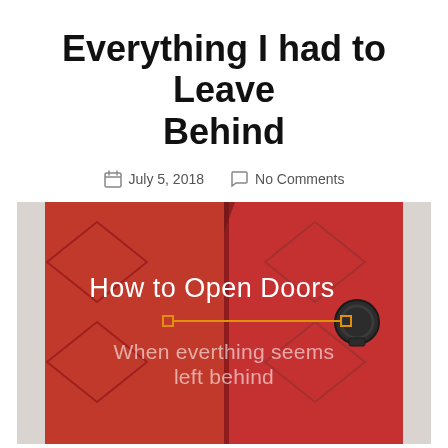Everything I had to Leave Behind
July 5, 2018   No Comments
[Figure (photo): Red double door with iron knocker, overlaid with text 'How to Open Doors' and an orange horizontal line with square endpoints connecting two points, and subtitle text 'When everthing seems left behind']